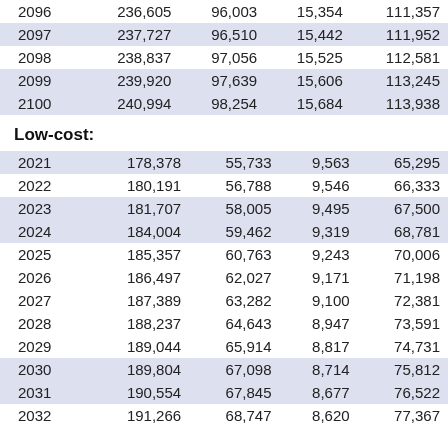| Year |  |  |  |  |
| --- | --- | --- | --- | --- |
| 2096 | 236,605 | 96,003 | 15,354 | 111,357 |
| 2097 | 237,727 | 96,510 | 15,442 | 111,952 |
| 2098 | 238,837 | 97,056 | 15,525 | 112,581 |
| 2099 | 239,920 | 97,639 | 15,606 | 113,245 |
| 2100 | 240,994 | 98,254 | 15,684 | 113,938 |
Low-cost:
| Year |  |  |  |  |
| --- | --- | --- | --- | --- |
| 2021 | 178,378 | 55,733 | 9,563 | 65,295 |
| 2022 | 180,191 | 56,788 | 9,546 | 66,333 |
| 2023 | 181,707 | 58,005 | 9,495 | 67,500 |
| 2024 | 184,004 | 59,462 | 9,319 | 68,781 |
| 2025 | 185,357 | 60,763 | 9,243 | 70,006 |
| 2026 | 186,497 | 62,027 | 9,171 | 71,198 |
| 2027 | 187,389 | 63,282 | 9,100 | 72,381 |
| 2028 | 188,237 | 64,643 | 8,947 | 73,591 |
| 2029 | 189,044 | 65,914 | 8,817 | 74,731 |
| 2030 | 189,804 | 67,098 | 8,714 | 75,812 |
| 2031 | 190,554 | 67,845 | 8,677 | 76,522 |
| 2032 | 191,266 | 68,747 | 8,620 | 77,367 |